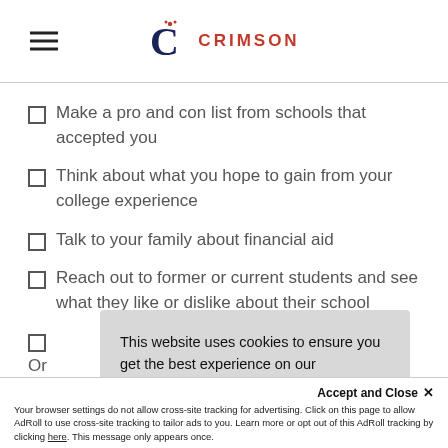CRIMSON
Make a pro and con list from schools that accepted you
Think about what you hope to gain from your college experience
Talk to your family about financial aid
Reach out to former or current students and see what they like or dislike about their school
(partial, obscured by cookie banner)
Or...
This website uses cookies to ensure you get the best experience on our website. Learn more
Accept and Close ✕ Your browser settings do not allow cross-site tracking for advertising. Click on this page to allow AdRoll to use cross-site tracking to tailor ads to you. Learn more or opt out of this AdRoll tracking by clicking here. This message only appears once.